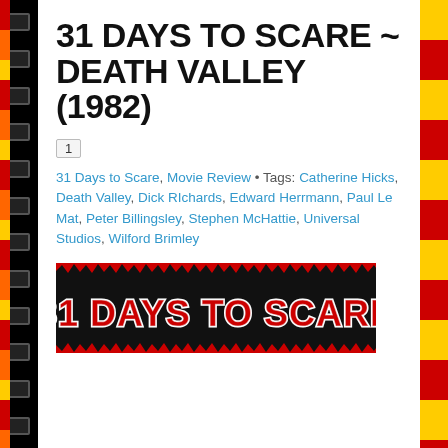31 DAYS TO SCARE ~ DEATH VALLEY (1982)
1
31 Days to Scare, Movie Review • Tags: Catherine Hicks, Death Valley, Dick RIchards, Edward Herrmann, Paul Le Mat, Peter Billingsley, Stephen McHattie, Universal Studios, Wilford Brimley
[Figure (logo): 31 DAYS TO SCARE horror-style logo with spiky/distressed red and white text on black background]